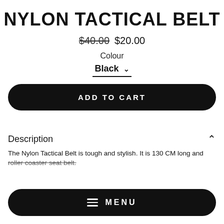NYLON TACTICAL BELT
$40.00  $20.00
Colour
Black ∨
ADD TO CART
Description
The Nylon Tactical Belt is tough and stylish. It is 130 CM long and
roller coaster seat belt.
≡  MENU